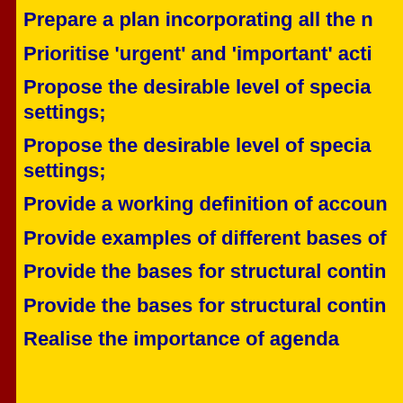Prepare a plan incorporating all the n…
Prioritise 'urgent' and 'important' acti…
Propose the desirable level of specia… settings;
Propose the desirable level of specia… settings;
Provide a working definition of accoun…
Provide examples of different bases of…
Provide the bases for structural contin…
Provide the bases for structural contin…
Realise the importance of agenda…